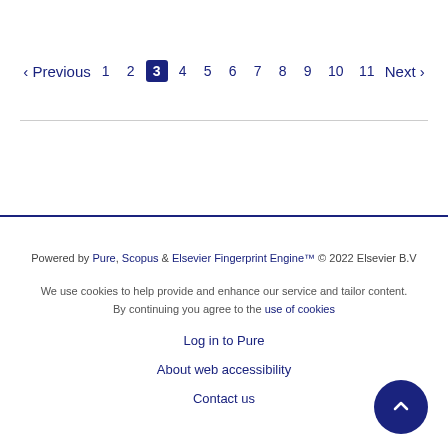‹ Previous  1 2 3 4 5 6 7 8 9 10 11  Next ›
Powered by Pure, Scopus & Elsevier Fingerprint Engine™ © 2022 Elsevier B.V

We use cookies to help provide and enhance our service and tailor content. By continuing you agree to the use of cookies

Log in to Pure

About web accessibility

Contact us